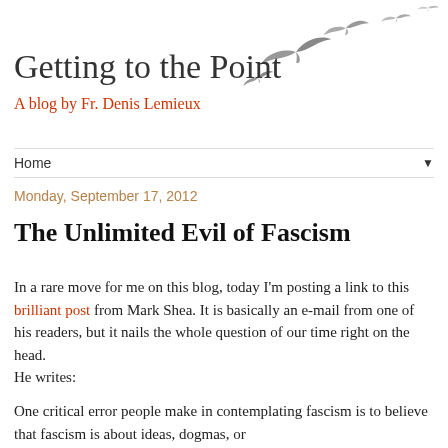Getting to the Point
A blog by Fr. Denis Lemieux
[Figure (illustration): Silhouettes of birds in flight arranged diagonally in the upper right corner of the page header]
Home ▼
Monday, September 17, 2012
The Unlimited Evil of Fascism
In a rare move for me on this blog, today I'm posting a link to this brilliant post from Mark Shea. It is basically an e-mail from one of his readers, but it nails the whole question of our time right on the head.
He writes:
One critical error people make in contemplating fascism is to believe that fascism is about ideas, dogmas, or